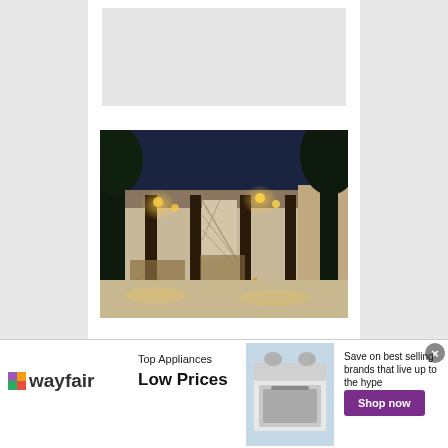[Figure (photo): Nighttime outdoor terrace of Hotel Bel-Air with warm lantern lighting, tall columns, trees, and dining tables]
HOTEL BEL-AIR - LOS ANGELES, BEVERLY
[Figure (other): Wayfair advertisement banner: Top Appliances Low Prices, showing a stove/range appliance image, with text 'Save on best selling brands that live up to the hype' and a purple 'Shop now' button]